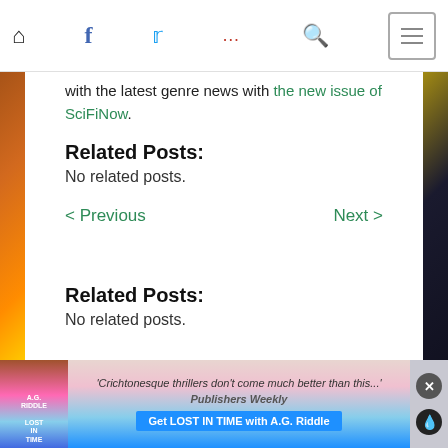Navigation bar with home, facebook, twitter, dots, search icons and menu button
with the latest genre news with the new issue of SciFiNow.
Related Posts:
No related posts.
< Previous   Next >
Related Posts:
No related posts.
Tags: Alien 5
[Figure (infographic): Advertisement banner for 'Lost in Time' by A.G. Riddle with quote from Publishers Weekly: 'Crichtonesque thrillers don't come much better than this...' and call to action 'Get LOST IN TIME with A.G. Riddle']